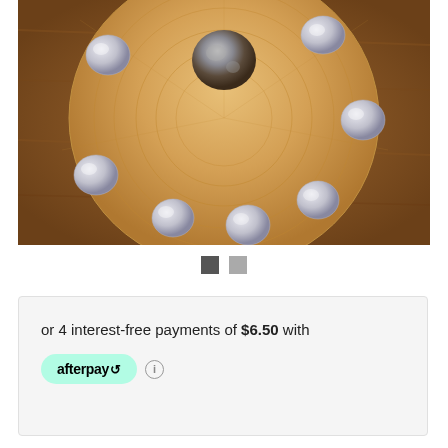[Figure (photo): Overhead view of a round wooden board with engraved circular patterns, featuring a dark mineral/crystal rock in the center and multiple smooth rounded stones (moonstones or similar) arranged around the perimeter. The board sits on a wooden surface.]
[Figure (other): Two small square image navigation/carousel dots: one dark gray (active) and one lighter gray (inactive)]
or 4 interest-free payments of $6.50 with afterpay